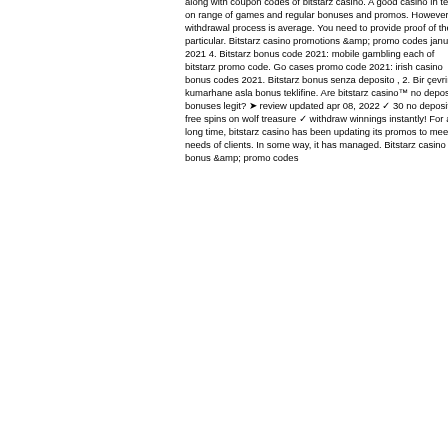requirements. Bitstarz casino promotions &amp; promo codes april 2022. Find all the latest online casino bonuses &amp; promotions along with coupon codes of bitstarz casino. A good casino in terms on range of games and regular bonuses and promos. However, the withdrawal process is average. You need to provide proof of the particular. Bitstarz casino promotions &amp; promo codes january 2021 4. Bitstarz bonus code 2021: mobile gambling each of bitstarz promo code. Go cases promo code 2021: irish casino bonus codes 2021. Bitstarz bonus senza deposito , 2. Bir çevrim içi kumarhane asla bonus teklifine. Are bitstarz casino™ no deposit bonuses legit? ➤ review updated apr 08, 2022 ✓ 30 no deposit free spins on wolf treasure ✓ withdraw winnings instantly! For a long time, bitstarz casino has been updating its promos to meet the needs of clients. In some way, it has managed. Bitstarz casino bonus &amp; promo codes